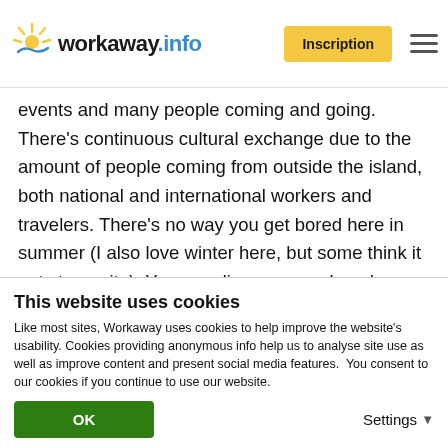workaway.info | Inscription
events and many people coming and going. There's continuous cultural exchange due to the amount of people coming from outside the island, both national and international workers and travelers. There's no way you get bored here in summer (I also love winter here, but some think it gets too quite). You can discover new beaches every day. You can practice awesome scuba diving. You can sail. You can enjoy summer town fiestas. This year there will be plenty of concerts and festivals, gastronomic events, cinema, parties... Definitely, a great choice to spend the
This website uses cookies
Like most sites, Workaway uses cookies to help improve the website's usability. Cookies providing anonymous info help us to analyse site use as well as improve content and present social media features.  You consent to our cookies if you continue to use our website.
OK | Settings